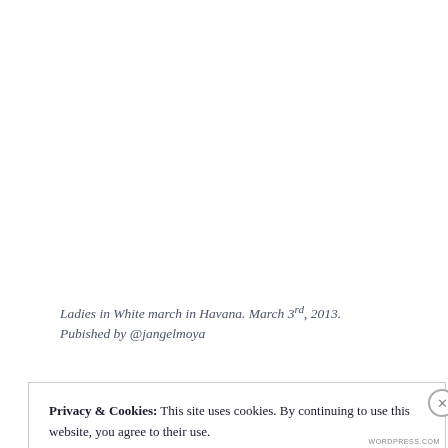Ladies in White march in Havana. March 3rd, 2013. Pubished by @jangelmoya
Privacy & Cookies: This site uses cookies. By continuing to use this website, you agree to their use.
To find out more, including how to control cookies, see here:
Cookie Policy
Close and accept
WORDPRESS.COM